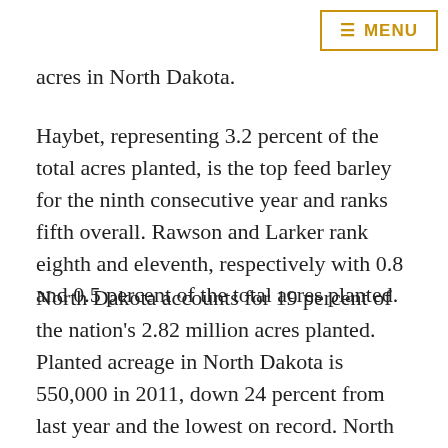≡ MENU
acres in North Dakota.
Haybet, representing 3.2 percent of the total acres planted, is the top feed barley for the ninth consecutive year and ranks fifth overall. Rawson and Larker rank eighth and eleventh, respectively with 0.8 and 0.5 percent of the total acres planted.
North Dakota accounts for 19 percent of the nation's 2.82 million acres planted. Planted acreage in North Dakota is 550,000 in 2011, down 24 percent from last year and the lowest on record. North Dakota barley acreage planted has been surpassed this year by Montana which now ranks first in barley acreage